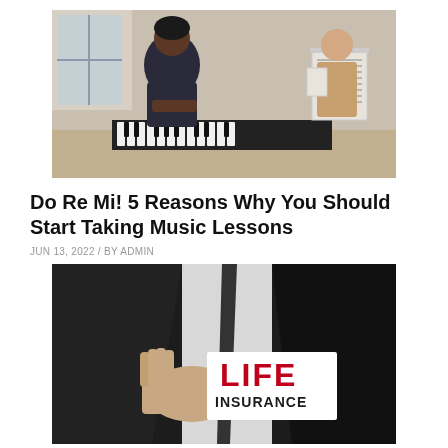[Figure (photo): A young student playing a keyboard/piano while a female music teacher stands nearby holding sheet music, with a music stand in the background.]
Do Re Mi! 5 Reasons Why You Should Start Taking Music Lessons
JUN 13, 2022 / BY ADMIN
[Figure (photo): A person in a black suit holding a white card that reads 'LIFE INSURANCE' in bold red and black lettering.]